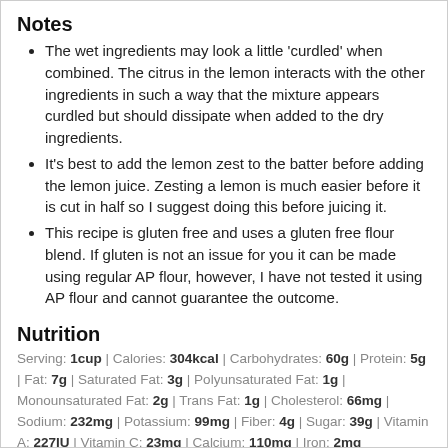Notes
The wet ingredients may look a little 'curdled' when combined. The citrus in the lemon interacts with the other ingredients in such a way that the mixture appears curdled but should dissipate when added to the dry ingredients.
It's best to add the lemon zest to the batter before adding the lemon juice. Zesting a lemon is much easier before it is cut in half so I suggest doing this before juicing it.
This recipe is gluten free and uses a gluten free flour blend. If gluten is not an issue for you it can be made using regular AP flour, however, I have not tested it using AP flour and cannot guarantee the outcome.
Nutrition
Serving: 1cup | Calories: 304kcal | Carbohydrates: 60g | Protein: 5g | Fat: 7g | Saturated Fat: 3g | Polyunsaturated Fat: 1g | Monounsaturated Fat: 2g | Trans Fat: 1g | Cholesterol: 66mg | Sodium: 232mg | Potassium: 99mg | Fiber: 4g | Sugar: 39g | Vitamin A: 227IU | Vitamin C: 23mg | Calcium: 110mg | Iron: 2mg